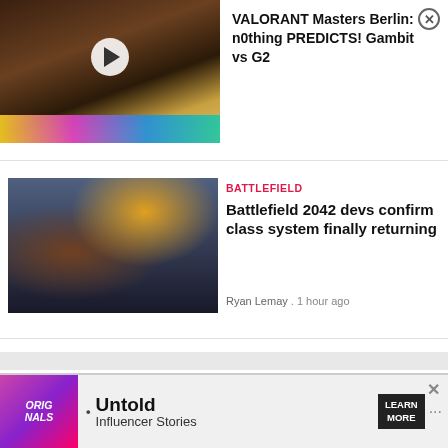[Figure (screenshot): Video thumbnail showing streamer with headphones, with play button overlay]
VALORANT Masters Berlin: n0thing PREDICTS! Gambit vs G2
[Figure (photo): Battlefield 2042 action scene showing aircraft and soldiers]
BATTLEFIELD
Battlefield 2042 devs confirm class system finally returning
Ryan Lemay . 1 hour ago
[Figure (infographic): Advertisement banner: Originals - Untold Influencer Stories - Learn More]